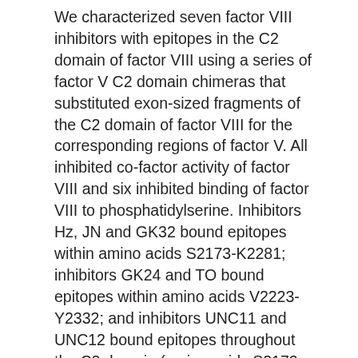We characterized seven factor VIII inhibitors with epitopes in the C2 domain of factor VIII using a series of factor V C2 domain chimeras that substituted exon-sized fragments of the C2 domain of factor VIII for the corresponding regions of factor V. All inhibited co-factor activity of factor VIII and six inhibited binding of factor VIII to phosphatidylserine. Inhibitors Hz, JN and GK32 bound epitopes within amino acids S2173-K2281; inhibitors GK24 and TO bound epitopes within amino acids V2223-Y2332; and inhibitors UNC11 and UNC12 bound epitopes throughout the C2 domain (amino acids S2173-Y2332). Inhibitors Hz, JN and UNC12 inhibited the co-factor activity of chimera 5A, which substituted amino acids S2173-Q2222 of factor VIII for the